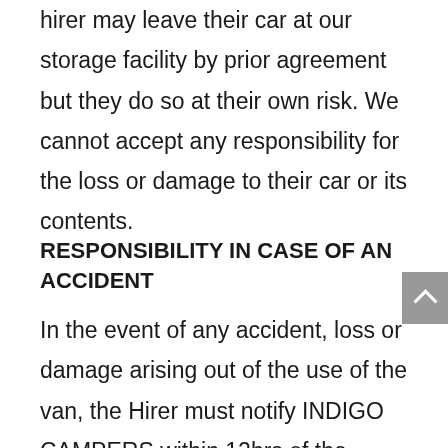During the hire period of the van, the hirer may leave their car at our storage facility by prior agreement but they do so at their own risk. We cannot accept any responsibility for the loss or damage to their car or its contents.
RESPONSIBILITY IN CASE OF AN ACCIDENT
In the event of any accident, loss or damage arising out of the use of the van, the Hirer must notify INDIGO CAMPERS within 12hrs of the event. The hirer must obtain the names and